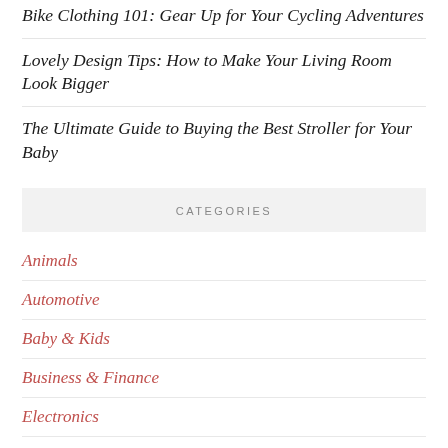Bike Clothing 101: Gear Up for Your Cycling Adventures
Lovely Design Tips: How to Make Your Living Room Look Bigger
The Ultimate Guide to Buying the Best Stroller for Your Baby
CATEGORIES
Animals
Automotive
Baby & Kids
Business & Finance
Electronics
Fashion
Food & Drink